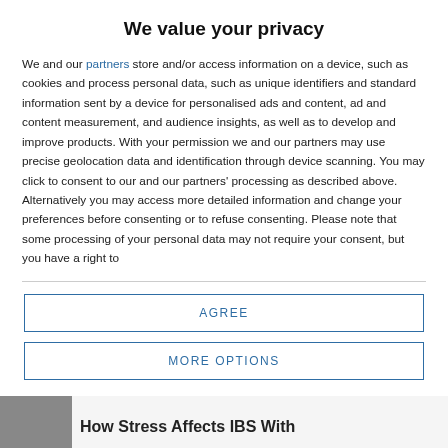We value your privacy
We and our partners store and/or access information on a device, such as cookies and process personal data, such as unique identifiers and standard information sent by a device for personalised ads and content, ad and content measurement, and audience insights, as well as to develop and improve products. With your permission we and our partners may use precise geolocation data and identification through device scanning. You may click to consent to our and our partners’ processing as described above. Alternatively you may access more detailed information and change your preferences before consenting or to refuse consenting. Please note that some processing of your personal data may not require your consent, but you have a right to
AGREE
MORE OPTIONS
How Stress Affects IBS With